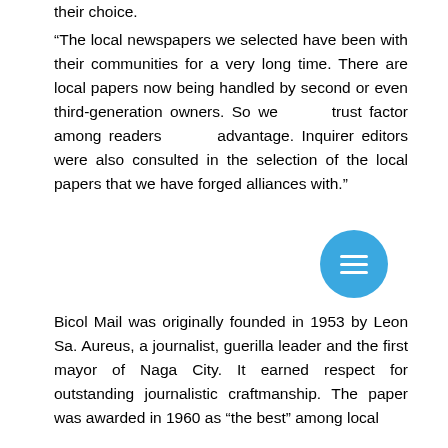their choice.
“The local newspapers we selected have been with their communities for a very long time. There are local papers now being handled by second or even third-generation owners. So we see the trust factor among readers as an advantage. Inquirer editors were also consulted in the selection of the local papers that we have forged alliances with.”
Bicol Mail was originally founded in 1953 by Leon Sa. Aureus, a journalist, guerilla leader and the first mayor of Naga City. It earned respect for outstanding journalistic craftmanship. The paper was awarded in 1960 as “the best” among local…